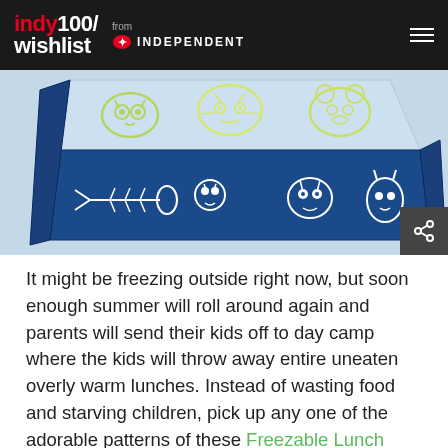indy100/wishlist from INDEPENDENT
[Figure (photo): A children's insulated lunch bag with blue bottom and light blue top featuring cartoon monster/animal illustrations in yellow-green outline style. The bag is shown at an angle. A dark share button icon is visible in the bottom-right corner of the image.]
It might be freezing outside right now, but soon enough summer will roll around again and parents will send their kids off to day camp where the kids will throw away entire uneaten overly warm lunches. Instead of wasting food and starving children, pick up any one of the adorable patterns of these Freezable Lunch Bags and know that your child's food will stay cold no matter the weather.